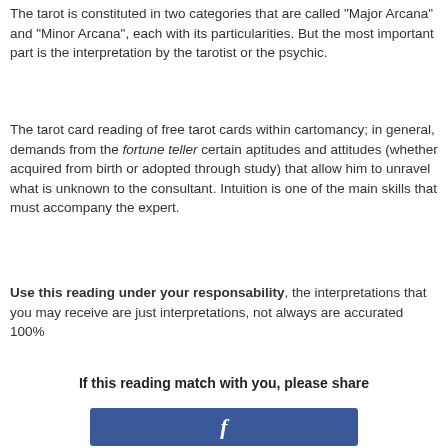The tarot is constituted in two categories that are called “Major Arcana” and “Minor Arcana”, each with its particularities. But the most important part is the interpretation by the tarotist or the psychic.
The tarot card reading of free tarot cards within cartomancy; in general, demands from the fortune teller certain aptitudes and attitudes (whether acquired from birth or adopted through study) that allow him to unravel what is unknown to the consultant. Intuition is one of the main skills that must accompany the expert.
Use this reading under your responsability, the interpretations that you may receive are just interpretations, not always are accurated 100%
If this reading match with you, please share